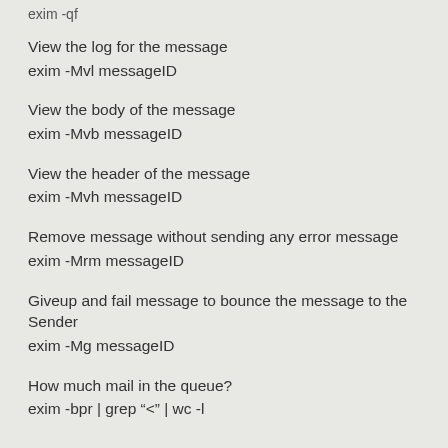exim -qf
View the log for the message
exim -Mvl messageID
View the body of the message
exim -Mvb messageID
View the header of the message
exim -Mvh messageID
Remove message without sending any error message
exim -Mrm messageID
Giveup and fail message to bounce the message to the Sender
exim -Mg messageID
How much mail in the queue?
exim -bpr | grep “<” | wc -l